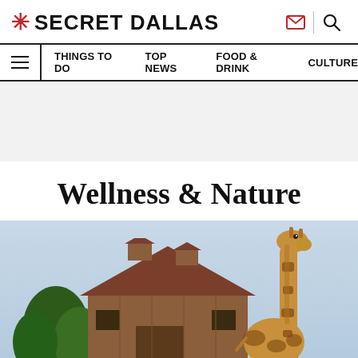* SECRET DALLAS
THINGS TO DO  TOP NEWS  FOOD & DRINK  CULTURE
Wellness & Nature
[Figure (photo): A tall giraffe standing next to a large wooden barn with red roof cupolas, with green trees in the background and a blue sky.]